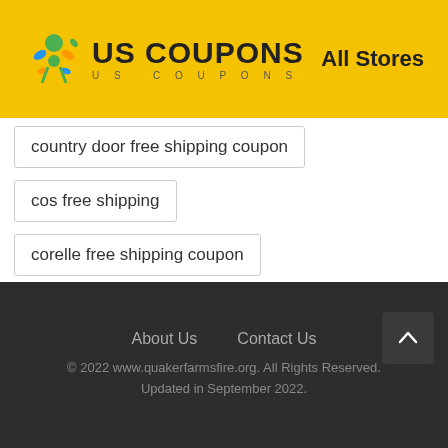US COUPONS — All Stores
country door free shipping coupon
cos free shipping
corelle free shipping coupon
container store coupon 20 off
About Us   Contact Us   © 2022 www.quakerfarmsfire.org. All Rights Reserved. Updated in September 2022.